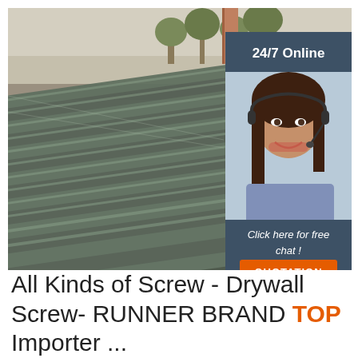[Figure (photo): Large pile of steel rebar/rods stacked in an industrial yard, viewed from ground level with buildings and trees in background. Overlaid in the top-right corner is a customer service chat widget with a dark blue background showing '24/7 Online' text, a photo of a smiling woman with a headset, 'Click here for free chat!' text, and an orange QUOTATION button.]
All Kinds of Screw - Drywall Screw- RUNNER BRAND TOP Importer ...